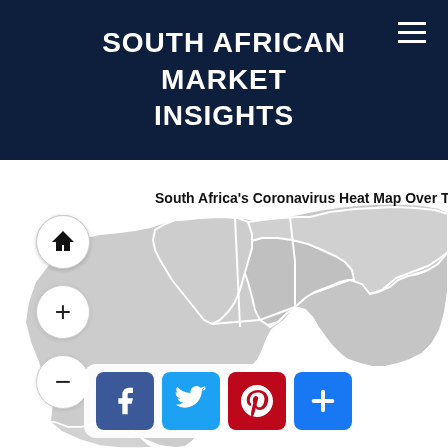SOUTH AFRICAN MARKET INSIGHTS
2020/03/22  Pause
South Africa's Coronavirus Heat Map Over Time
[Figure (map): South Africa provinces heat map showing coronavirus spread over time, displayed in grey tones on a white background]
[Figure (infographic): Social share buttons: Facebook, Twitter, Pinterest, and a plus/share button]